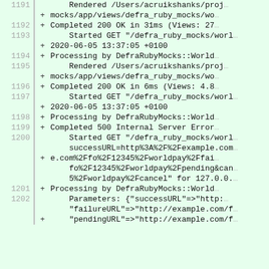[Figure (screenshot): A diff/code view with green background showing log lines numbered 1191–1202, each prefixed with + signs, containing Ruby on Rails server log output including GET requests, render calls, and HTTP response codes.]